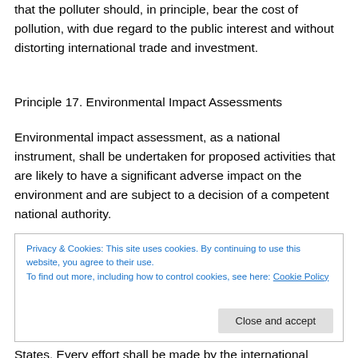that the polluter should, in principle, bear the cost of pollution, with due regard to the public interest and without distorting international trade and investment.
Principle 17. Environmental Impact Assessments
Environmental impact assessment, as a national instrument, shall be undertaken for proposed activities that are likely to have a significant adverse impact on the environment and are subject to a decision of a competent national authority.
Privacy & Cookies: This site uses cookies. By continuing to use this website, you agree to their use.
To find out more, including how to control cookies, see here: Cookie Policy
States. Every effort shall be made by the international